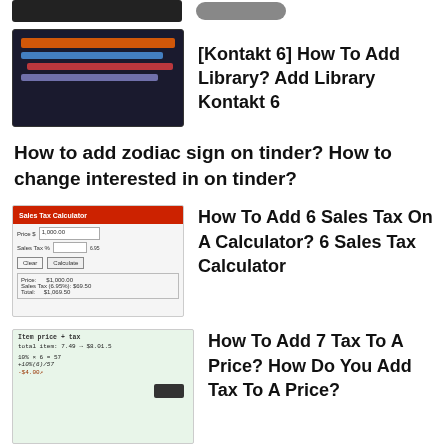[Figure (screenshot): Partial thumbnail of a video at top of page, cropped]
[Kontakt 6] How To Add Library? Add Library Kontakt 6
How to add zodiac sign on tinder? How to change interested in on tinder?
How To Add 6 Sales Tax On A Calculator? 6 Sales Tax Calculator
How To Add 7 Tax To A Price? How Do You Add Tax To A Price?
[D&d Beyond] How To Add A Subclass? How To Change Subclass D&d Beyond?
[Sims 4] How To Add CC? Download CC The Sims 4 Free